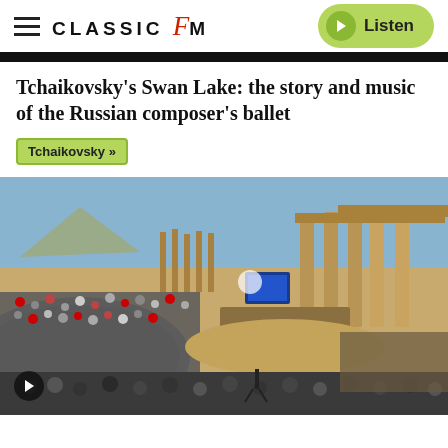CLASSIC fM — Listen
Tchaikovsky's Swan Lake: the story and music of the Russian composer's ballet
Tchaikovsky »
[Figure (photo): Wide-angle view of an ancient Roman amphitheatre (Palmyra, Syria) filled with a large audience watching an outdoor concert, with an orchestra on stage, ancient stone columns and ruins visible in the background under a clear blue sky. A play button icon is visible in the bottom left corner.]